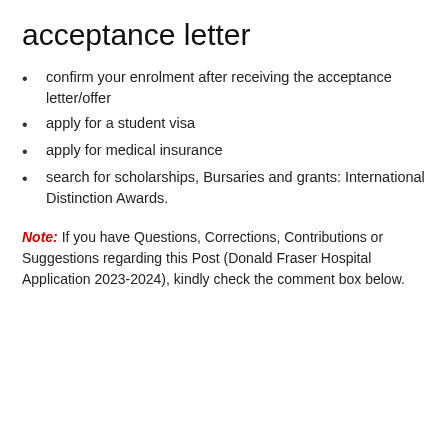acceptance letter
confirm your enrolment after receiving the acceptance letter/offer
apply for a student visa
apply for medical insurance
search for scholarships, Bursaries and grants: International Distinction Awards.
Note: If you have Questions, Corrections, Contributions or Suggestions regarding this Post (Donald Fraser Hospital Application 2023-2024), kindly check the comment box below.